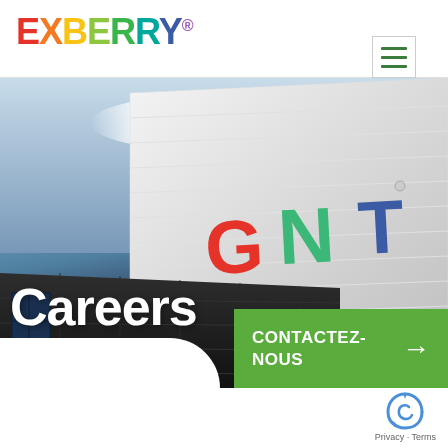[Figure (logo): EXBERRY logo with rainbow-colored letters and registered trademark symbol]
[Figure (photo): GNT building exterior with white facade showing colorful GNT letters, blue sky background, with 'Careers' text overlay and green 'CONTACTEZ-NOUS' button]
Careers
CONTACTEZ-NOUS →
Privacy · Terms